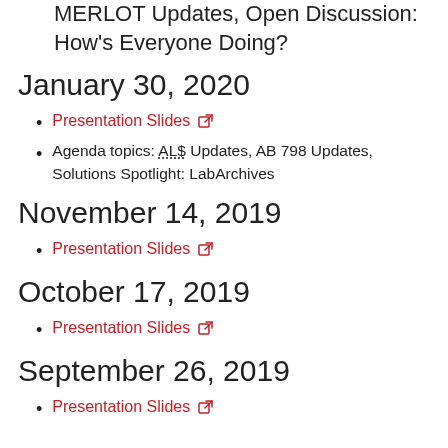MERLOT Updates, Open Discussion: How's Everyone Doing?
January 30, 2020
Presentation Slides [external link]
Agenda topics: AL$ Updates, AB 798 Updates, Solutions Spotlight: LabArchives
November 14, 2019
Presentation Slides [external link]
October 17, 2019
Presentation Slides [external link]
September 26, 2019
Presentation Slides [external link]